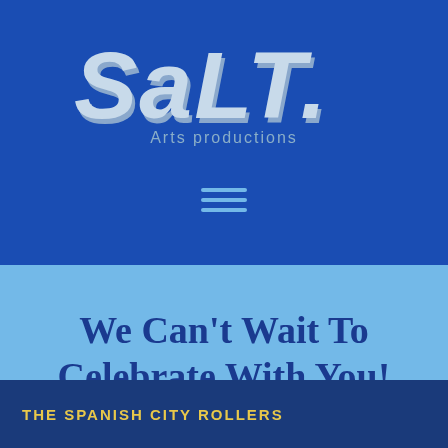[Figure (logo): SALT Arts Productions logo in light blue/grey stylized text on dark blue background]
[Figure (other): Hamburger menu icon (three horizontal lines) in light blue on dark blue background]
We Can't Wait To Celebrate With You!
THE SPANISH CITY ROLLERS